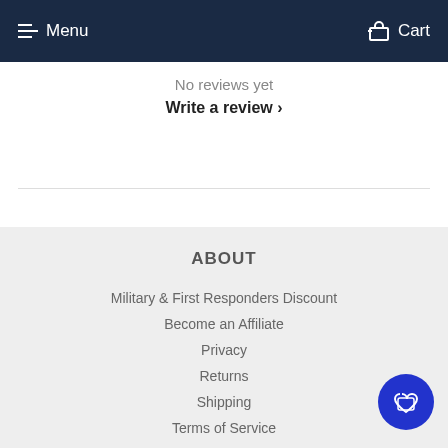Menu  Cart
No reviews yet
Write a review ›
ABOUT
Military & First Responders Discount
Become an Affiliate
Privacy
Returns
Shipping
Terms of Service